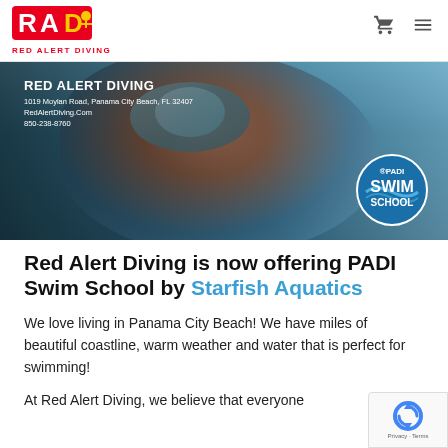[Figure (logo): Red Alert Diving logo with red RAD letters and diver icon, with RED ALERT DIVING text below in red]
[Figure (photo): Banner image showing a close-up of a swimmer wearing goggles at water level, with Red Alert Diving contact info overlay on the left and PADI Swim School badge on the right. Text: RED ALERT DIVING, 1019 Moylan Road, Panama City Beach, FL 32407, RedAlertDiving.Com, 850-238-8760]
Red Alert Diving is now offering PADI Swim School by Starfish Aquatics
We love living in Panama City Beach! We have miles of beautiful coastline, warm weather and water that is perfect for swimming!
At Red Alert Diving, we believe that everyone